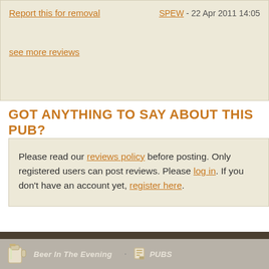Report this for removal   SPEW - 22 Apr 2011 14:05
see more reviews
GOT ANYTHING TO SAY ABOUT THIS PUB?
Please read our reviews policy before posting. Only registered users can post reviews. Please log in. If you don't have an account yet, register here.
Beer in the Evening · PUBS